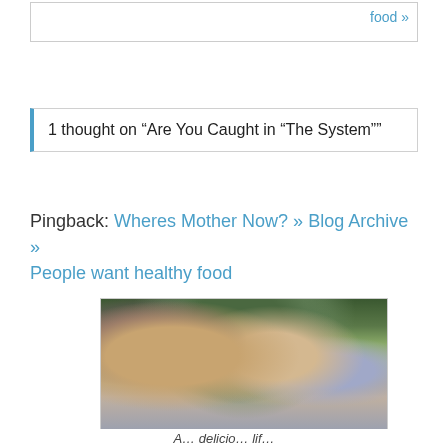food »
1 thought on “Are You Caught in “The System””
Pingback: Wheres Mother Now? » Blog Archive » People want healthy food
[Figure (photo): A woman with three children laughing and smiling together on a striped hammock outdoors]